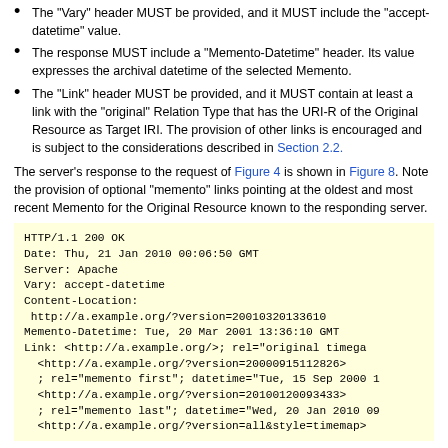The "Vary" header MUST be provided, and it MUST include the "accept-datetime" value.
The response MUST include a "Memento-Datetime" header. Its value expresses the archival datetime of the selected Memento.
The "Link" header MUST be provided, and it MUST contain at least a link with the "original" Relation Type that has the URI-R of the Original Resource as Target IRI. The provision of other links is encouraged and is subject to the considerations described in Section 2.2.
The server's response to the request of Figure 4 is shown in Figure 8. Note the provision of optional "memento" links pointing at the oldest and most recent Memento for the Original Resource known to the responding server.
HTTP/1.1 200 OK
Date: Thu, 21 Jan 2010 00:06:50 GMT
Server: Apache
Vary: accept-datetime
Content-Location:
 http://a.example.org/?version=20010320133610
Memento-Datetime: Tue, 20 Mar 2001 13:36:10 GMT
Link: <http://a.example.org/>; rel="original timega
  <http://a.example.org/?version=20000915112826>
  ; rel="memento first"; datetime="Tue, 15 Sep 2000 1
  <http://a.example.org/?version=20100120093433>
  ; rel="memento last"; datetime="Wed, 20 Jan 2010 09
  <http://a.example.org/?version=all&style=timemap>